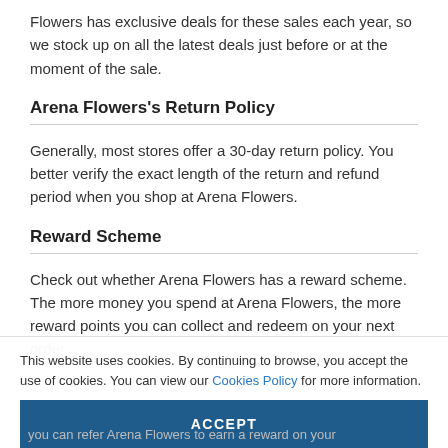Flowers has exclusive deals for these sales each year, so we stock up on all the latest deals just before or at the moment of the sale.
Arena Flowers's Return Policy
Generally, most stores offer a 30-day return policy. You better verify the exact length of the return and refund period when you shop at Arena Flowers.
Reward Scheme
Check out whether Arena Flowers has a reward scheme. The more money you spend at Arena Flowers, the more reward points you can collect and redeem on your next order.
This website uses cookies. By continuing to browse, you accept the use of cookies. You can view our Cookies Policy for more information.
ACCEPT
you can refer Arena Flowers to earn a reward on your